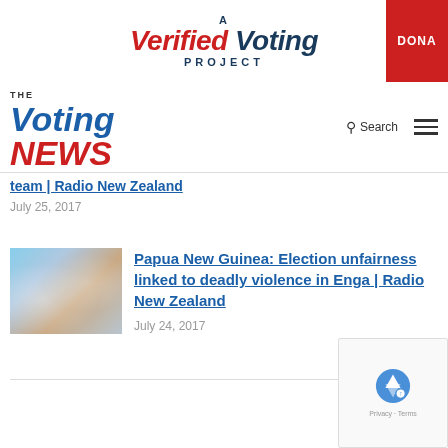[Figure (logo): A Verified Voting Project logo with red and blue text, partially cropped with a red Donate button on the right]
[Figure (logo): The Voting News logo with blue italic Voting and red italic NEWS text]
team | Radio New Zealand
July 25, 2017
[Figure (photo): Blurry sky and landscape photo used as article thumbnail]
Papua New Guinea: Election unfairness linked to deadly violence in Enga | Radio New Zealand
July 24, 2017